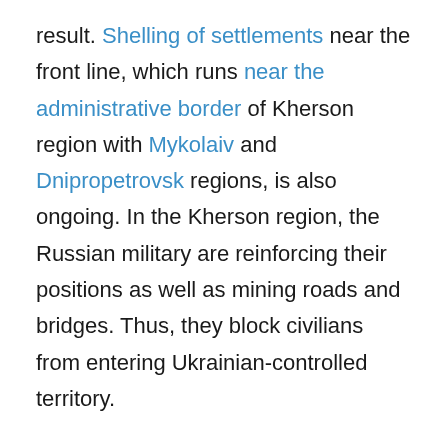result. Shelling of settlements near the front line, which runs near the administrative border of Kherson region with Mykolaiv and Dnipropetrovsk regions, is also ongoing. In the Kherson region, the Russian military are reinforcing their positions as well as mining roads and bridges. Thus, they block civilians from entering Ukrainian-controlled territory.
The Russian Navy continues to blockade Ukrainian ports on the Black Sea, threatening to shell civilian vessels approaching the Ukrainian coast.
Western direction: